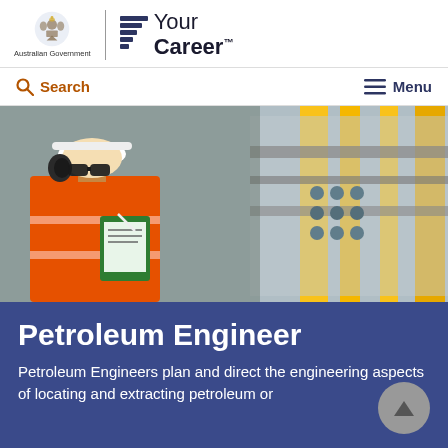[Figure (logo): Australian Government crest logo with text 'Australian Government', a vertical divider, and 'Your Career' logo with stylized lines icon]
Search   Menu
[Figure (photo): A worker in an orange hi-vis jacket and white hard hat with ear protection, writing on a clipboard at an industrial facility with yellow pipes and blue equipment in the background.]
Petroleum Engineer
Petroleum Engineers plan and direct the engineering aspects of locating and extracting petroleum or